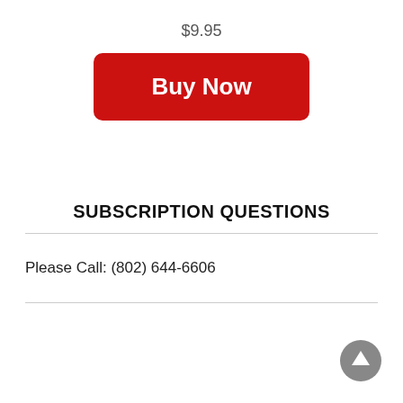$9.95
[Figure (other): Red 'Buy Now' button with white bold text and rounded corners]
SUBSCRIPTION QUESTIONS
Please Call: (802) 644-6606
[Figure (other): Gray circular scroll-to-top arrow button in bottom right corner]